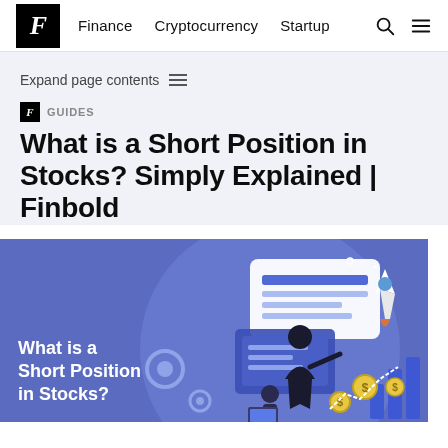F  Finance  Cryptocurrency  Startup
Expand page contents ≡
F GUIDES
What is a Short Position in Stocks? Simply Explained | Finbold
[Figure (illustration): Blue illustrated banner showing a person at a computer with financial charts, a rocket ship, gear icons, and dollar coin symbols. Text overlay reads: What is a Short Position in Stocks?]